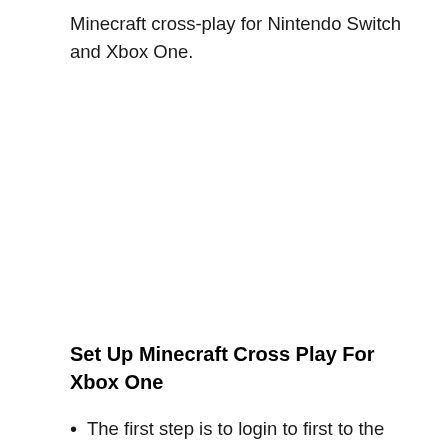Minecraft cross-play for Nintendo Switch and Xbox One.
Set Up Minecraft Cross Play For Xbox One
The first step is to login to first to the